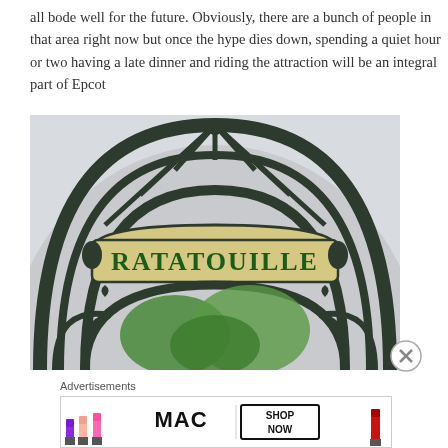all bode well for the future. Obviously, there are a bunch of people in that area right now but once the hype dies down, spending a quiet hour or two having a late dinner and riding the attraction will be an integral part of Epcot
[Figure (photo): Ornate Art Nouveau iron gate archway with a sign reading 'RATATOUILLE' in green letters on a golden background, photographed looking upward with green trees visible through the ironwork.]
Advertisements
[Figure (photo): Advertisement for MAC cosmetics showing colorful lipsticks on the left, MAC logo in the center, and a 'SHOP NOW' button on the right, with a red lipstick on the far right.]